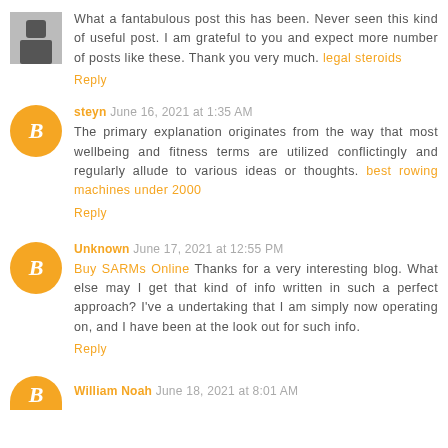What a fantabulous post this has been. Never seen this kind of useful post. I am grateful to you and expect more number of posts like these. Thank you very much. legal steroids
Reply
steyn June 16, 2021 at 1:35 AM
The primary explanation originates from the way that most wellbeing and fitness terms are utilized conflictingly and regularly allude to various ideas or thoughts. best rowing machines under 2000
Reply
Unknown June 17, 2021 at 12:55 PM
Buy SARMs Online Thanks for a very interesting blog. What else may I get that kind of info written in such a perfect approach? I've a undertaking that I am simply now operating on, and I have been at the look out for such info.
Reply
William Noah June 18, 2021 at 8:01 AM